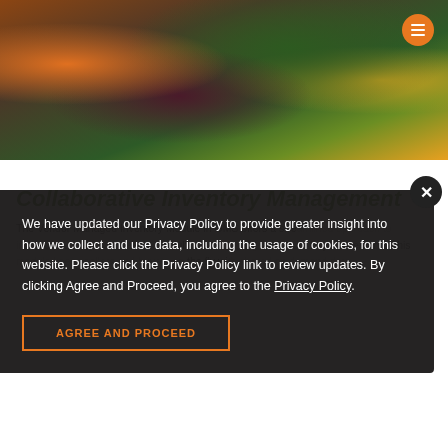[Figure (photo): Hero image showing fresh vegetables including carrots, beets, zucchini, and other produce on a wooden surface with dark moody lighting. An orange circular menu button is visible in the top right corner.]
Collaborative Inventory Management
The Vendor Managed Inventory Module in OMS offers a streamlined approach to inventory management and order fulfillment that aligns with the buyer's demand. This module keeps sellers and buyers on the fly with shared on demand data
We have updated our Privacy Policy to provide greater insight into how we collect and use data, including the usage of cookies, for this website. Please click the Privacy Policy link to review updates. By clicking Agree and Proceed, you agree to the Privacy Policy.
AGREE AND PROCEED
Benefits of OMS Vendor Managed Inventory